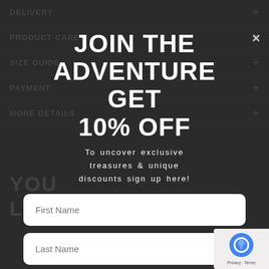DELIVERY +
PRODUCT CARE +
SIZE GUIDE +
PAYMENT +
MORE DETAILS +
JOIN THE ADVENTURE GET 10% OFF
To uncover exclusive treasures & unique discounts sign up here!
First Name
Last Name
Email
Submit